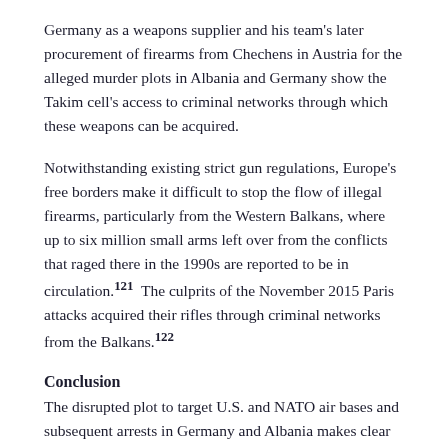Germany as a weapons supplier and his team's later procurement of firearms from Chechens in Austria for the alleged murder plots in Albania and Germany show the Takim cell's access to criminal networks through which these weapons can be acquired.
Notwithstanding existing strict gun regulations, Europe's free borders make it difficult to stop the flow of illegal firearms, particularly from the Western Balkans, where up to six million small arms left over from the conflicts that raged there in the 1990s are reported to be in circulation.121  The culprits of the November 2015 Paris attacks acquired their rifles through criminal networks from the Balkans.122
Conclusion
The disrupted plot to target U.S. and NATO air bases and subsequent arrests in Germany and Albania makes clear that the Islamic State maintains clandestine cells across Europe that are in communication with Islamic State terrorist operatives abroad. This case study of the Takim